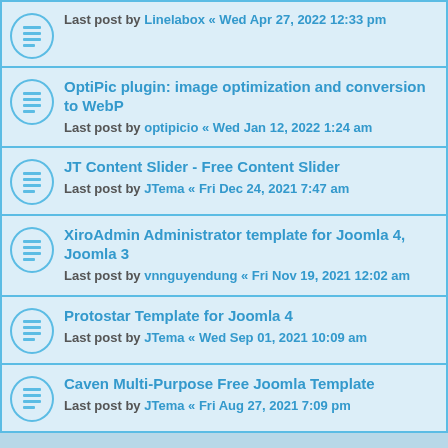Last post by Linelabox « Wed Apr 27, 2022 12:33 pm
OptiPic plugin: image optimization and conversion to WebP
Last post by optipicio « Wed Jan 12, 2022 1:24 am
JT Content Slider - Free Content Slider
Last post by JTema « Fri Dec 24, 2021 7:47 am
XiroAdmin Administrator template for Joomla 4, Joomla 3
Last post by vnnguyendung « Fri Nov 19, 2021 12:02 am
Protostar Template for Joomla 4
Last post by JTema « Wed Sep 01, 2021 10:09 am
Caven Multi-Purpose Free Joomla Template
Last post by JTema « Fri Aug 27, 2021 7:09 pm